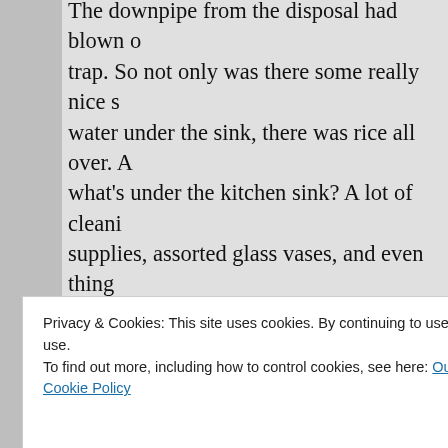The downpipe from the disposal had blown off the trap. So not only was there some really nice slimy water under the sink, there was rice all over. And what's under the kitchen sink? A lot of cleaning supplies, assorted glass vases, and even things forgotten we brought here ten years ago when we moved in.
Kitchens are the worst–not only is there the slime, the slime is greasy on top of it. I probably did the same as you–I kept washing my hands for a half hour after cleaning up that mess.
Privacy & Cookies: This site uses cookies. By continuing to use this website, you agree to their use.
To find out more, including how to control cookies, see here: Our Cookie Policy